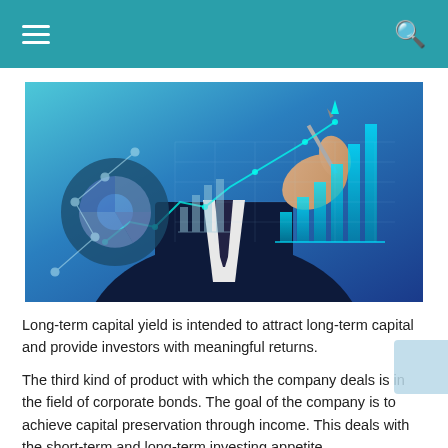≡  🔍
[Figure (photo): A businessman in a dark suit holding a pen pointing at holographic financial charts showing bar charts, line graphs, pie charts, and upward trending data visualizations against a blue background.]
Long-term capital yield is intended to attract long-term capital and provide investors with meaningful returns.
The third kind of product with which the company deals is in the field of corporate bonds. The goal of the company is to achieve capital preservation through income. This deals with the short-term and long-term investing appetite.